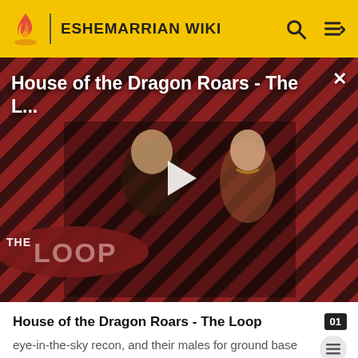ESHEMARRIAN WIKI
[Figure (screenshot): Video thumbnail for 'House of the Dragon Roars - The L...' showing two characters from House of the Dragon on a striped red/black background with a play button overlay and 'THE LOOP' badge.]
House of the Dragon Roars - The Loop
eye-in-the-sky recon, and their males for ground base scouting and electronic warfare (which also masks the actions of the already noted aerial corps).